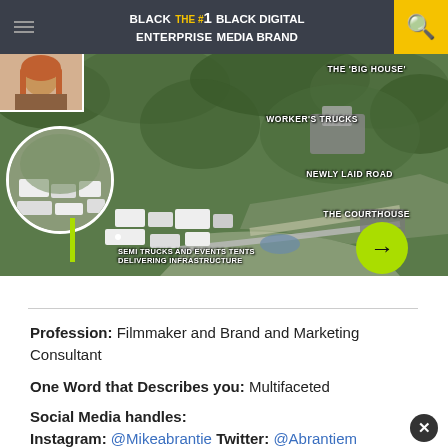BLACK ENTERPRISE THE #1 BLACK DIGITAL MEDIA BRAND
[Figure (screenshot): Aerial photo of a rural property with labels: THE 'BIG HOUSE', WORKER'S TRUCKS, NEWLY LAID ROAD, THE COURTHOUSE, SEMI TRUCKS AND EVENTS TENTS DELIVERING INFRASTRUCTURE. A circular inset shows a close-up of structures. A thumbnail in the top-left corner shows a person. A green arrow navigation button is overlaid.]
Profession: Filmmaker and Brand and Marketing Consultant
One Word that Describes you: Multifaceted
Social Media handles:
Instagram: @Mikeabrantie Twitter: @Abrantiem